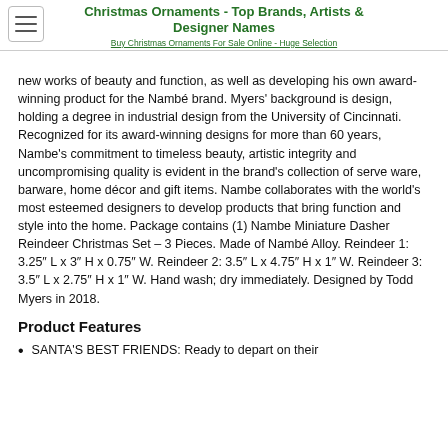Christmas Ornaments - Top Brands, Artists & Designer Names
Buy Christmas Ornaments For Sale Online - Huge Selection
new works of beauty and function, as well as developing his own award-winning product for the Nambé brand. Myers' background is design, holding a degree in industrial design from the University of Cincinnati. Recognized for its award-winning designs for more than 60 years, Nambe's commitment to timeless beauty, artistic integrity and uncompromising quality is evident in the brand's collection of serve ware, barware, home décor and gift items. Nambe collaborates with the world's most esteemed designers to develop products that bring function and style into the home. Package contains (1) Nambe Miniature Dasher Reindeer Christmas Set – 3 Pieces. Made of Nambé Alloy. Reindeer 1: 3.25″ L x 3″ H x 0.75″ W. Reindeer 2: 3.5″ L x 4.75″ H x 1″ W. Reindeer 3: 3.5″ L x 2.75″ H x 1″ W. Hand wash; dry immediately. Designed by Todd Myers in 2018.
Product Features
SANTA'S BEST FRIENDS: Ready to depart on their